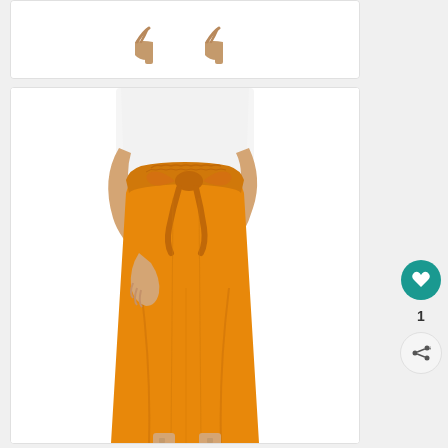[Figure (photo): Partial top of a product card showing beige/tan high-heeled mule shoes on a white background]
[Figure (photo): Woman wearing wide-leg high-waist mustard/golden-orange paper bag pants with a tie belt, paired with nude heels and a white top]